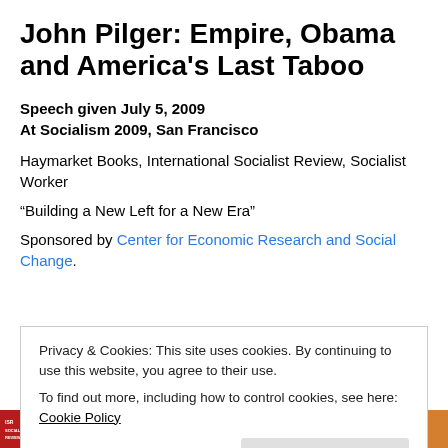John Pilger: Empire, Obama and America's Last Taboo
Speech given July 5, 2009
At Socialism 2009, San Francisco
Haymarket Books, International Socialist Review, Socialist Worker
“Building a New Left for a New Era”
Sponsored by Center for Economic Research and Social Change.
Privacy & Cookies: This site uses cookies. By continuing to use this website, you agree to their use.
To find out more, including how to control cookies, see here: Cookie Policy
[Figure (photo): Partially visible image strip at the bottom of the page with orange/red colors]